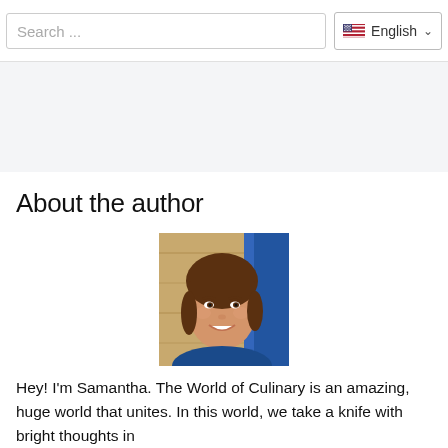Search ...   English
[Figure (other): Gray advertisement banner area]
About the author
[Figure (photo): Photo of Samantha, a woman with brown hair and bangs, smiling, wearing a blue top, against a wooden background]
Hey! I'm Samantha. The World of Culinary is an amazing, huge world that unites. In this world, we take a knife with bright thoughts in